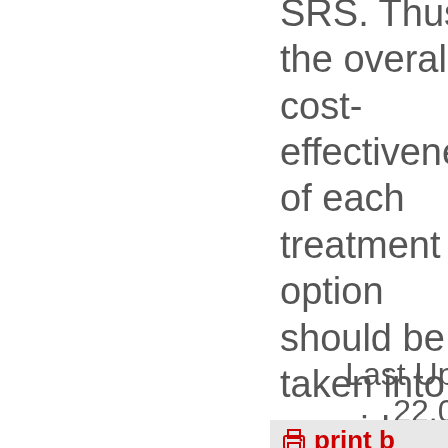SRS. Thus, the overall cost-effectiveness of each treatment option should be taken into consideration in deciding on the treatment.
Last Updated 22.09.2